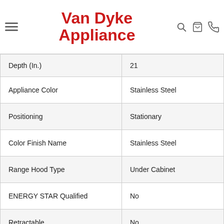Van Dyke Appliance
| Attribute | Value |
| --- | --- |
| Depth (In.) | 21 |
| Appliance Color | Stainless Steel |
| Positioning | Stationary |
| Color Finish Name | Stainless Steel |
| Range Hood Type | Under Cabinet |
| ENERGY STAR Qualified | No |
| Retractable | No |